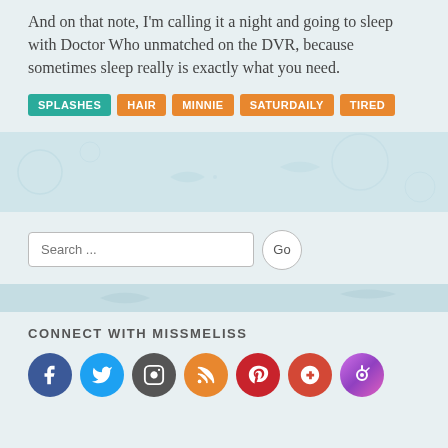And on that note, I'm calling it a night and going to sleep with Doctor Who unmatched on the DVR, because sometimes sleep really is exactly what you need.
SPLASHES
HAIR
MINNIE
SATURDAILY
TIRED
[Figure (other): Decorative light blue banner stripe with subtle fish/bubble motifs]
Search ...
[Figure (other): Decorative bottom banner stripe]
CONNECT WITH MISSMELISS
[Figure (other): Social media icons: Facebook, Twitter, Instagram, RSS, Pinterest, Google+, iTunes]